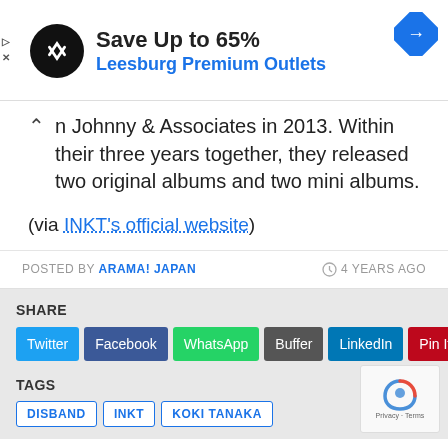[Figure (screenshot): Advertisement banner for Leesburg Premium Outlets with logo and navigation icon]
n Johnny & Associates in 2013. Within their three years together, they released two original albums and two mini albums.
(via INKT's official website)
POSTED BY ARAMA! JAPAN   4 YEARS AGO
SHARE
Twitter
Facebook
WhatsApp
Buffer
LinkedIn
Pin It
TAGS
DISBAND
INKT
KOKI TANAKA